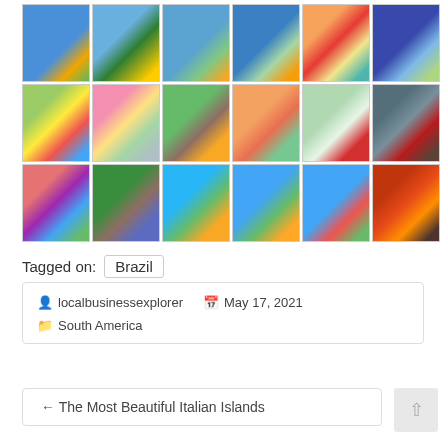[Figure (infographic): Grid of 18 colorful climate/geographic maps of Brazil arranged in 3 rows of 6 columns each]
Tagged on:  Brazil
localbusinessexplorer   May 17, 2021
South America
← The Most Beautiful Italian Islands